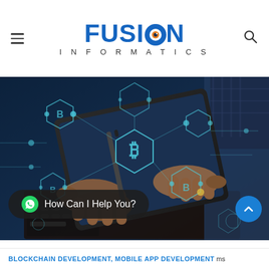FUSION INFORMATICS
[Figure (photo): Person holding a tablet with blockchain/Bitcoin holographic overlays showing hexagon nodes, Bitcoin symbols, and connected network graphics in blue and teal tones]
How Can I Help You?
BLOCKCHAIN DEVELOPMENT, MOBILE APP DEVELOPMENT